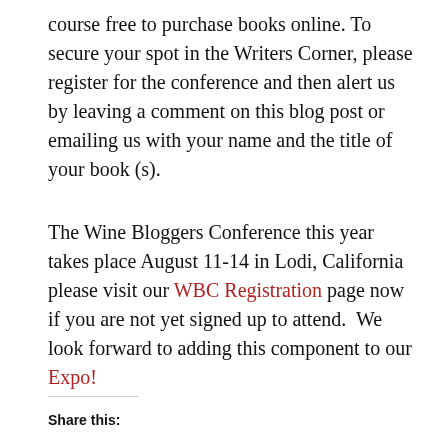course free to purchase books online. To secure your spot in the Writers Corner, please register for the conference and then alert us by leaving a comment on this blog post or emailing us with your name and the title of your book (s).
The Wine Bloggers Conference this year takes place August 11-14 in Lodi, California please visit our WBC Registration page now if you are not yet signed up to attend.  We look forward to adding this component to our Expo!
Share this: